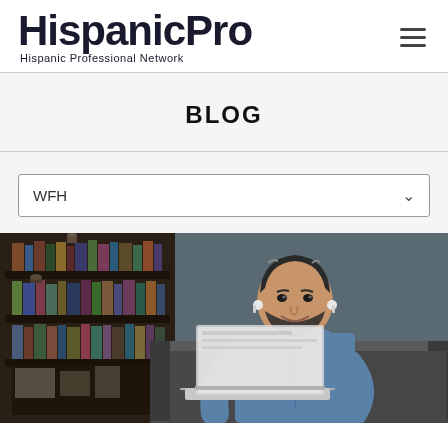HispanicPro — Hispanic Professional Network
BLOG
WFH
[Figure (photo): A smiling middle-aged Hispanic man with grey-streaked hair and a beard, wearing wireless earbuds and a denim shirt, working on a laptop while sitting on a grey sofa. A bookshelf is visible in the background.]